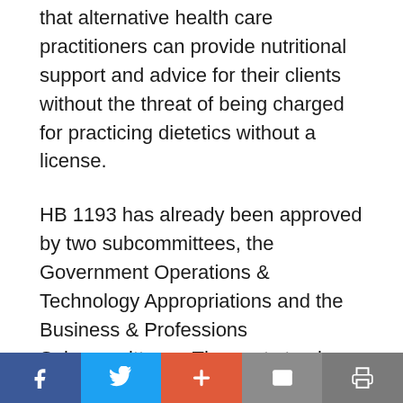that alternative health care practitioners can provide nutritional support and advice for their clients without the threat of being charged for practicing dietetics without a license.
HB 1193 has already been approved by two subcommittees, the Government Operations & Technology Appropriations and the Business & Professions Subcommittees.  The next step is approval by the full House Commerce Committee.  Please add your voice to help pass this bill!
[Figure (other): Social sharing toolbar with Facebook, Twitter, Add (+), Email, and Print buttons]